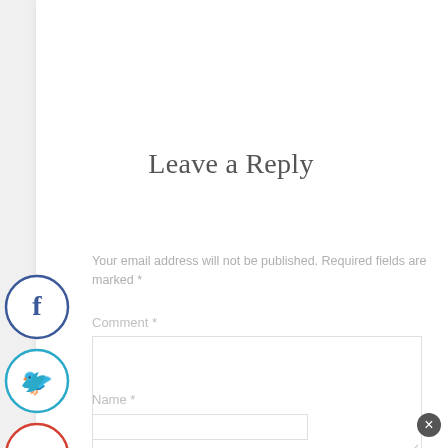Leave a Reply
Your email address will not be published. Required fields are marked *
Comment *
[Figure (illustration): Social media sharing buttons on left side: Facebook (blue circle), Twitter (teal circle), Google+ (red circle), Pinterest (red circle), Yummly (orange circle), StumbleUpon (orange circle), Reddit (dark circle)]
Name *